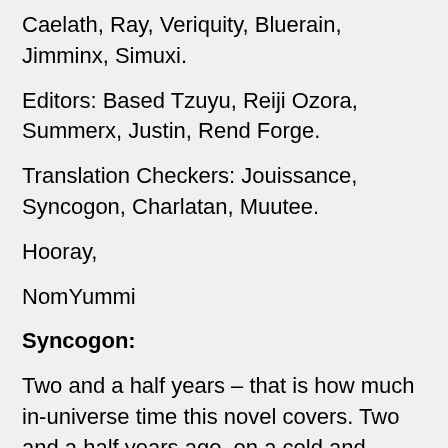Caelath, Ray, Veriquity, Bluerain, Jimminx, Simuxi.
Editors: Based Tzuyu, Reiji Ozora, Summerx, Justin, Rend Forge.
Translation Checkers: Jouissance, Syncogon, Charlatan, Muutee.
Hooray,
NomYummi
Syncogon:
Two and a half years – that is how much in-universe time this novel covers. Two and a half years ago, on a cold and snowy night, a lonely man walked into an internet café, and the world was never the same.
Two and a half years ago, I came across a donghua